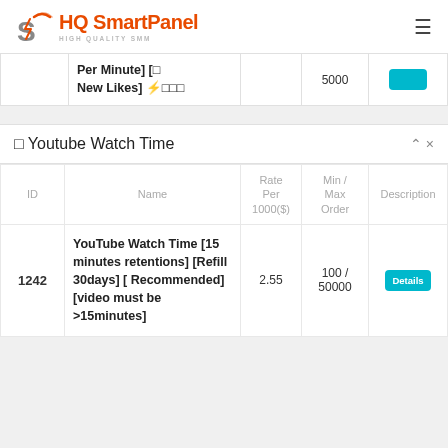HQ SmartPanel — HIGH QUALITY SMM
| ID | Name | Rate Per 1000($) | Min / Max Order | Description |
| --- | --- | --- | --- | --- |
|  | Per Minute] [⬜ New Likes] ⚡⬜⬜⬜ |  | 5000 |  |
⬜ Youtube Watch Time
| ID | Name | Rate Per 1000($) | Min / Max Order | Description |
| --- | --- | --- | --- | --- |
| 1242 | YouTube Watch Time [15 minutes retentions] [Refill 30days] [Recommended] [video must be >15minutes] | 2.55 | 100 / 50000 | Details |